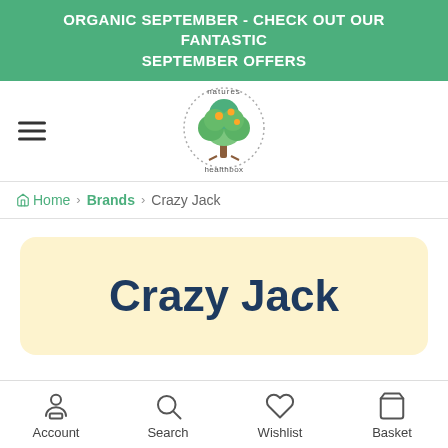ORGANIC SEPTEMBER - CHECK OUT OUR FANTASTIC SEPTEMBER OFFERS
[Figure (logo): Natures Healthbox logo — circular tree illustration with green leaves and orange fruit, dotted circle border, text 'natures' above and 'healthbox' below]
Home › Brands › Crazy Jack
Crazy Jack
Account  Search  Wishlist  Basket